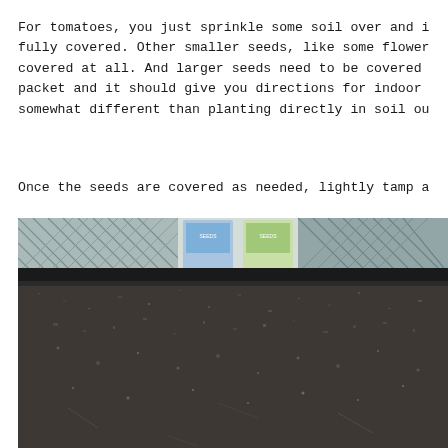For tomatoes, you just sprinkle some soil over and it should be partially or fully covered. Other smaller seeds, like some flower seeds, don't need to be covered at all. And larger seeds need to be covered more deeply. Read your seed packet and it should give you directions for indoor starting, which may be somewhat different than planting directly in soil outside.
Once the seeds are covered as needed, lightly tamp a...
[Figure (photo): Close-up photo of dark potting soil in a black seed tray, with seed packets visible in the background above the tray rim.]